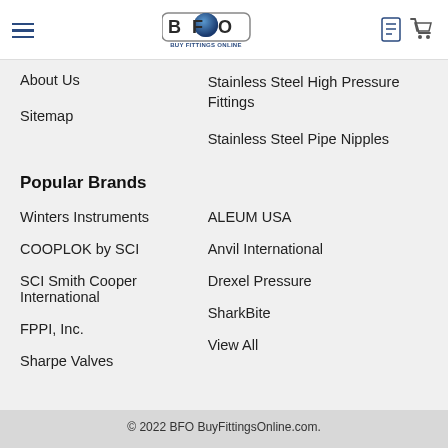[Figure (logo): BFO Buy Fittings Online logo with hamburger menu, BFO globe logo, and cart/account icons in header]
About Us
Sitemap
Stainless Steel High Pressure Fittings
Stainless Steel Pipe Nipples
Popular Brands
Winters Instruments
COOPLOK by SCI
SCI Smith Cooper International
FPPI, Inc.
Sharpe Valves
ALEUM USA
Anvil International
Drexel Pressure
SharkBite
View All
© 2022 BFO BuyFittingsOnline.com.